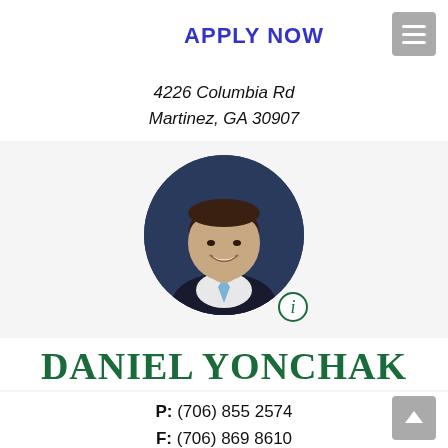APPLY NOW
4226 Columbia Rd
Martinez, GA 30907
[Figure (photo): Circular headshot photo of a young man in a dark suit with a light blue tie, smiling, against a dark navy blue background. An info icon (circled letter i) appears at the bottom-right of the circle.]
DANIEL YONCHAK
P: (706) 855 2574
F: (706) 869 8610